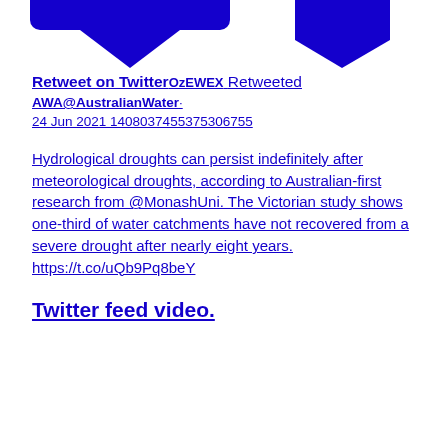[Figure (other): Partial Twitter/social media logo icons in dark blue at top of page, cropped]
Retweet on TwitterOzEWEX Retweeted
AWA@AustralianWater·
24 Jun 2021 1408037455375306755
Hydrological droughts can persist indefinitely after meteorological droughts, according to Australian-first research from @MonashUni. The Victorian study shows one-third of water catchments have not recovered from a severe drought after nearly eight years. https://t.co/uQb9Pq8beY
Twitter feed video.